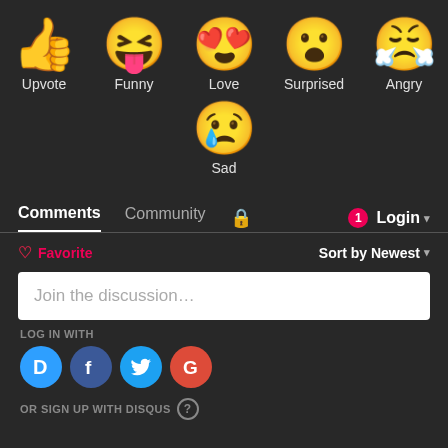[Figure (illustration): Row of emoji reaction icons: thumbs up (Upvote), laughing face with tongue (Funny), heart-eyes face (Love), surprised face (Surprised), old crying face (Angry)]
[Figure (illustration): Single emoji: sad face with tear (Sad)]
Comments  Community  🔒  1  Login ▾
♡ Favorite    Sort by Newest ▾
Join the discussion...
LOG IN WITH
[Figure (logo): Four social login icons: Disqus (D, blue), Facebook (f, dark blue), Twitter (bird, light blue), Google (G, red)]
OR SIGN UP WITH DISQUS ?